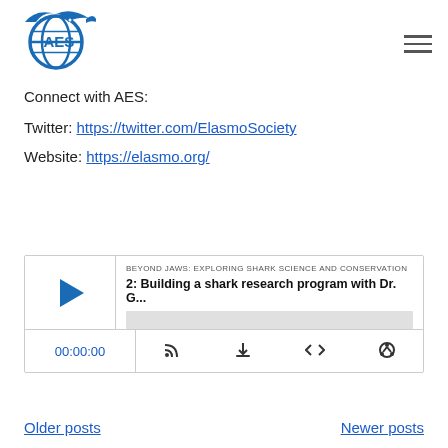[Figure (logo): AES (American Elasmobranch Society) logo: blue shark and circular globe emblem]
Connect with AES:
Twitter: https://twitter.com/ElasmoSociety
Website: https://elasmo.org/
[Figure (other): Podcast player widget for 'Beyond Jaws: Exploring Shark Science and Conservation' - Episode 2: Building a shark research program with Dr. G... Showing play button, progress bar, time 00:00:00, and control icons.]
Older posts   Newer posts